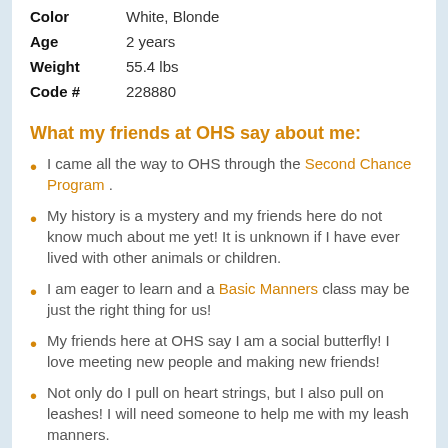| Color | White, Blonde |
| Age | 2 years |
| Weight | 55.4 lbs |
| Code # | 228880 |
What my friends at OHS say about me:
I came all the way to OHS through the Second Chance Program .
My history is a mystery and my friends here do not know much about me yet! It is unknown if I have ever lived with other animals or children.
I am eager to learn and a Basic Manners class may be just the right thing for us!
My friends here at OHS say I am a social butterfly! I love meeting new people and making new friends!
Not only do I pull on heart strings, but I also pull on leashes! I will need someone to help me with my leash manners.